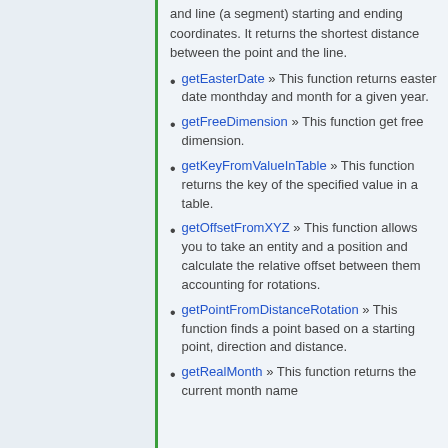and line (a segment) starting and ending coordinates. It returns the shortest distance between the point and the line.
getEasterDate » This function returns easter date monthday and month for a given year.
getFreeDimension » This function get free dimension.
getKeyFromValueInTable » This function returns the key of the specified value in a table.
getOffsetFromXYZ » This function allows you to take an entity and a position and calculate the relative offset between them accounting for rotations.
getPointFromDistanceRotation » This function finds a point based on a starting point, direction and distance.
getRealMonth » This function returns the current month name